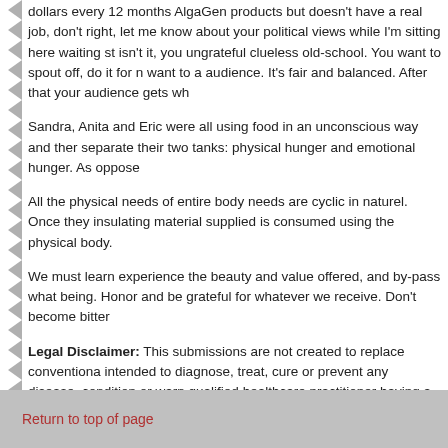dollars every 12 months AlgaGen products but doesn't have a real job, don't right, let me know about your political views while I'm sitting here waiting st isn't it, you ungrateful clueless old-school. You want to spout off, do it for n want to a audience. It's fair and balanced. After that your audience gets wh
Sandra, Anita and Eric were all using food in an unconscious way and ther separate their two tanks: physical hunger and emotional hunger. As oppose
All the physical needs of entire body needs are cyclic in naturel. Once they insulating material supplied is consumed using the physical body.
We must learn experience the beauty and value offered, and by-pass what being. Honor and be grateful for whatever we receive. Don't become bitter
Legal Disclaimer: This submissions are not created to replace conventiona intended to diagnose, treat, cure or prevent any disease, condition or warn qualified healthcare practitioner having a specific formula for a person will. cannot be considered medical advice or consult. Contact a reputable healt seeking an extra opinion.
Return to top of page